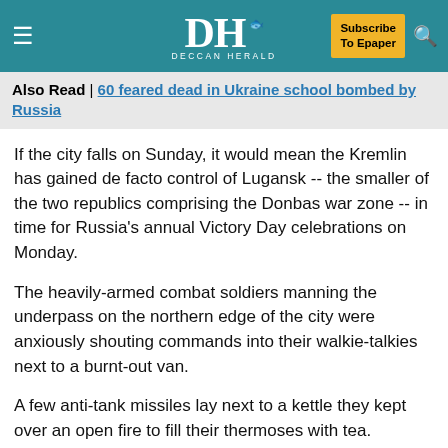DH DECCAN HERALD — Subscribe To Epaper
Also Read | 60 feared dead in Ukraine school bombed by Russia
If the city falls on Sunday, it would mean the Kremlin has gained de facto control of Lugansk -- the smaller of the two republics comprising the Donbas war zone -- in time for Russia's annual Victory Day celebrations on Monday.
The heavily-armed combat soldiers manning the underpass on the northern edge of the city were anxiously shouting commands into their walkie-talkies next to a burnt-out van.
A few anti-tank missiles lay next to a kettle they kept over an open fire to fill their thermoses with tea.